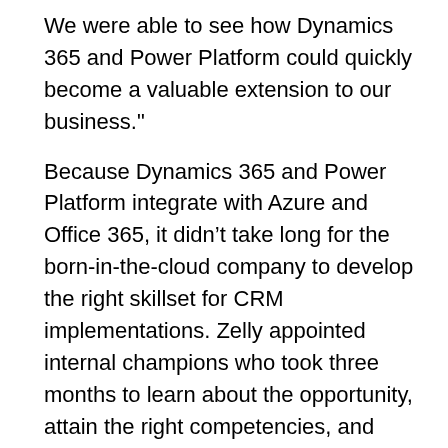We were able to see how Dynamics 365 and Power Platform could quickly become a valuable extension to our business."
Because Dynamics 365 and Power Platform integrate with Azure and Office 365, it didn't take long for the born-in-the-cloud company to develop the right skillset for CRM implementations. Zelly appointed internal champions who took three months to learn about the opportunity, attain the right competencies, and define a sales strategy. For the ERP side of the business, the company determined that given all the niche industry knowledge required to deploy Dynamics 365 Business Central, it would leverage partner-to-partner (P2P) connections for implementations.
The new Dynamics 365 practice took off quickly. Two years later, Zelly is averaging two new customers every